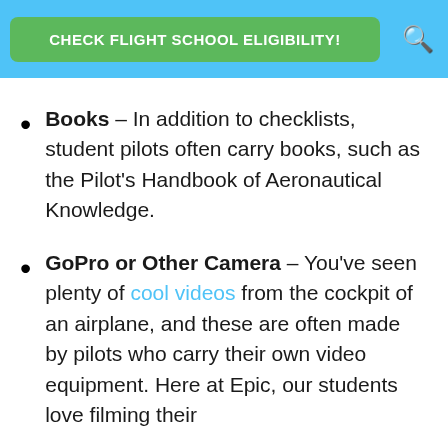CHECK FLIGHT SCHOOL ELIGIBILITY!
Books – In addition to checklists, student pilots often carry books, such as the Pilot's Handbook of Aeronautical Knowledge.
GoPro or Other Camera – You've seen plenty of cool videos from the cockpit of an airplane, and these are often made by pilots who carry their own video equipment. Here at Epic, our students love filming their